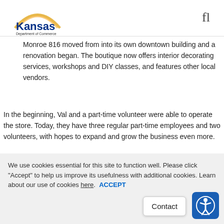Kansas Department of Commerce
Monroe 816 moved from into its own downtown building and a renovation began. The boutique now offers interior decorating services, workshops and DIY classes, and features other local vendors.
In the beginning, Val and a part-time volunteer were able to operate the store. Today, they have three regular part-time employees and two volunteers, with hopes to expand and grow the business even more.
We use cookies essential for this site to function well. Please click "Accept" to help us improve its usefulness with additional cookies. Learn about our use of cookies here.  ACCEPT